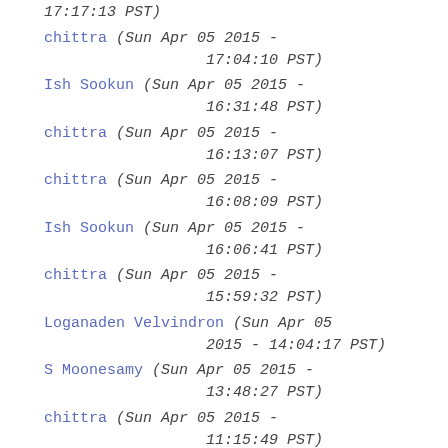17:17:13 PST)
chittra (Sun Apr 05 2015 - 17:04:10 PST)
Ish Sookun (Sun Apr 05 2015 - 16:31:48 PST)
chittra (Sun Apr 05 2015 - 16:13:07 PST)
chittra (Sun Apr 05 2015 - 16:08:09 PST)
Ish Sookun (Sun Apr 05 2015 - 16:06:41 PST)
chittra (Sun Apr 05 2015 - 15:59:32 PST)
Loganaden Velvindron (Sun Apr 05 2015 - 14:04:17 PST)
S Moonesamy (Sun Apr 05 2015 - 13:48:27 PST)
chittra (Sun Apr 05 2015 - 11:15:49 PST)
Beach Samurai (Sun Apr 05 2015 - 05:10:10 PST)